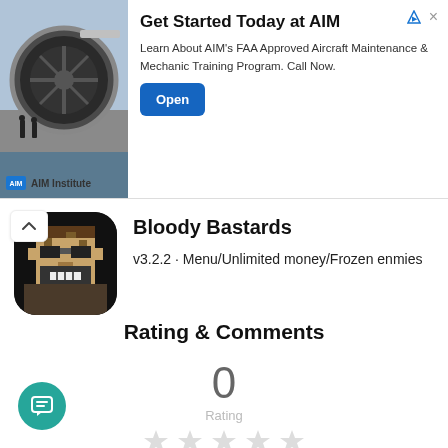[Figure (infographic): Advertisement banner for AIM Institute showing aircraft engine photo, text 'Get Started Today at AIM', description of FAA Approved Aircraft Maintenance & Mechanic Training Program, and an Open button. AIM Institute logo at bottom left of image.]
Bloody Bastards
v3.2.2 · Menu/Unlimited money/Frozen enmies
Rating & Comments
0
Rating